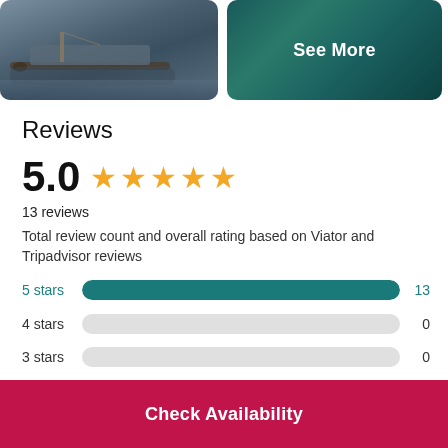[Figure (photo): Photo of a boat near a pier on the water with a dark tree branch in foreground]
[Figure (photo): Aerial photo of teal/turquoise water with rocky coastline, with 'See More' text overlay]
Reviews
5.0 ★★★★★
13 reviews
Total review count and overall rating based on Viator and Tripadvisor reviews
5 stars  13
4 stars  0
3 stars  0
Check Availability